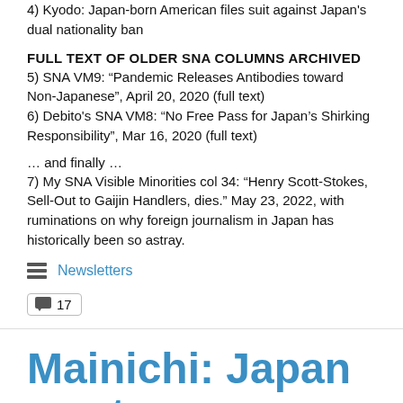4) Kyodo: Japan-born American files suit against Japan's dual nationality ban
FULL TEXT OF OLDER SNA COLUMNS ARCHIVED
5) SNA VM9: “Pandemic Releases Antibodies toward Non-Japanese”, April 20, 2020 (full text)
6) Debito's SNA VM8: “No Free Pass for Japan’s Shirking Responsibility”, Mar 16, 2020 (full text)
… and finally …
7) My SNA Visible Minorities col 34: “Henry Scott-Stokes, Sell-Out to Gaijin Handlers, dies.” May 23, 2022, with ruminations on why foreign journalism in Japan has historically been so astray.
Newsletters
17
Mainichi: Japan wants its COVID vaccine